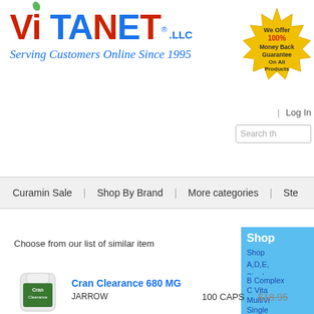[Figure (logo): VitaNet LLC logo with colorful letters, green leaf accent, and tagline 'Serving Customers Online Since 1995']
[Figure (illustration): Gold starburst badge reading 'We Offer 100% Money Back Guarantee On All Products']
| Log In
Search th
Curamin Sale | Shop By Brand | More categories | Ste
Shop
Choose from our list of similar item
Shop A,D,E, Singles
B Complex
C Vitamins
MultiVitamins
Single Essentials
[Figure (photo): Bottle of Jarrow Cran Clearance supplement with green label]
Cran Clearance 680 MG
JARROW
100 CAPS
$18.95